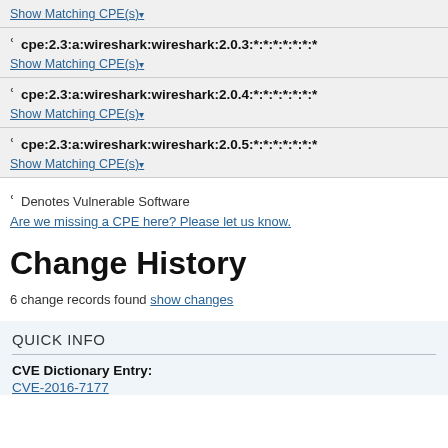Show Matching CPE(s)▾
⚙ cpe:2.3:a:wireshark:wireshark:2.0.3:*:*:*:*:*:*:*
Show Matching CPE(s)▾
⚙ cpe:2.3:a:wireshark:wireshark:2.0.4:*:*:*:*:*:*:*
Show Matching CPE(s)▾
⚙ cpe:2.3:a:wireshark:wireshark:2.0.5:*:*:*:*:*:*:*
Show Matching CPE(s)▾
⚙ Denotes Vulnerable Software
Are we missing a CPE here? Please let us know.
Change History
6 change records found show changes
QUICK INFO
CVE Dictionary Entry:
CVE-2016-7177